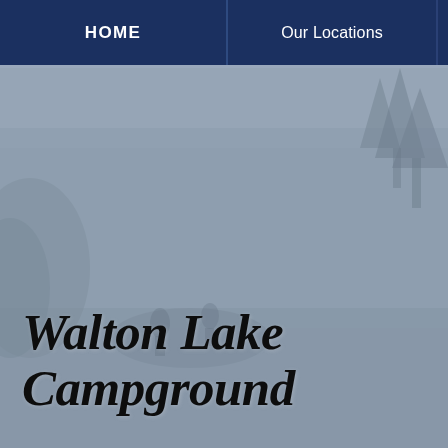HOME | Our Locations
[Figure (photo): Outdoor camping/forest scene with muted blue-gray overlay, showing trees and people in a campground setting at Walton Lake]
Walton Lake Campground